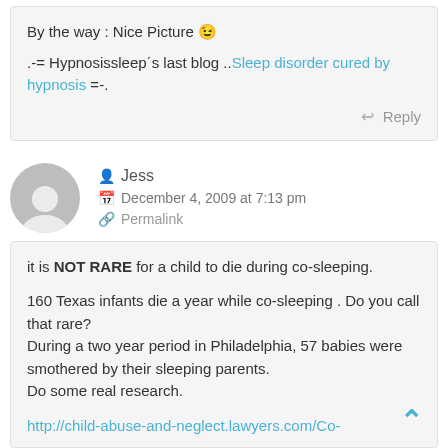By the way : Nice Picture 😉
.-= Hypnosissleep´s last blog ..Sleep disorder cured by hypnosis =-.
Reply
Jess
December 4, 2009 at 7:13 pm
Permalink
it is NOT RARE for a child to die during co-sleeping.

160 Texas infants die a year while co-sleeping . Do you call that rare?
During a two year period in Philadelphia, 57 babies were smothered by their sleeping parents.
Do some real research.

http://child-abuse-and-neglect.lawyers.com/Co-